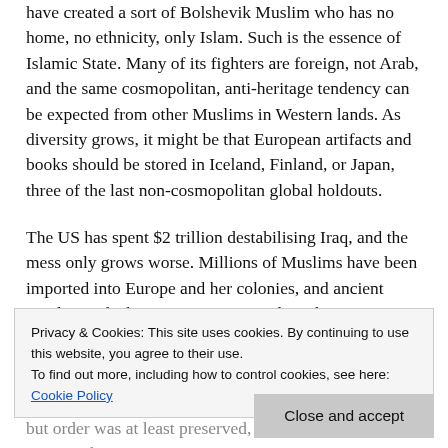have created a sort of Bolshevik Muslim who has no home, no ethnicity, only Islam. Such is the essence of Islamic State. Many of its fighters are foreign, not Arab, and the same cosmopolitan, anti-heritage tendency can be expected from other Muslims in Western lands. As diversity grows, it might be that European artifacts and books should be stored in Iceland, Finland, or Japan, three of the last non-cosmopolitan global holdouts.
The US has spent $2 trillion destabilising Iraq, and the mess only grows worse. Millions of Muslims have been imported into Europe and her colonies, and ancient Muslim and Christian communities have been eradicated in Iraq's chaos.
Privacy & Cookies: This site uses cookies. By continuing to use this website, you agree to their use.
To find out more, including how to control cookies, see here: Cookie Policy
Close and accept
but order was at least preserved, most heritage preserved.